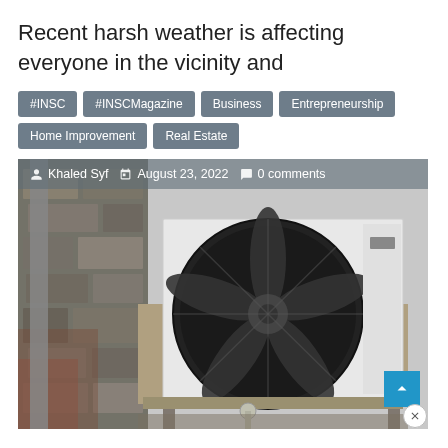Recent harsh weather is affecting everyone in the vicinity and
#INSC
#INSCMagazine
Business
Entrepreneurship
Home Improvement
Real Estate
[Figure (photo): Outdoor HVAC/heat pump unit mounted on metal frame against a weathered stone wall, overlaid with author/date/comments bar reading: Khaled Syf | August 23, 2022 | 0 comments]